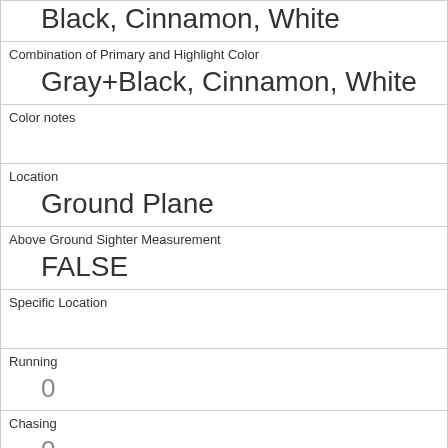| Black, Cinnamon, White |
| Combination of Primary and Highlight Color
Gray+Black, Cinnamon, White |
| Color notes
 |
| Location
Ground Plane |
| Above Ground Sighter Measurement
FALSE |
| Specific Location
 |
| Running
0 |
| Chasing
0 |
| Climbing
0 |
| Eating
1 |
| Foraging
1 |